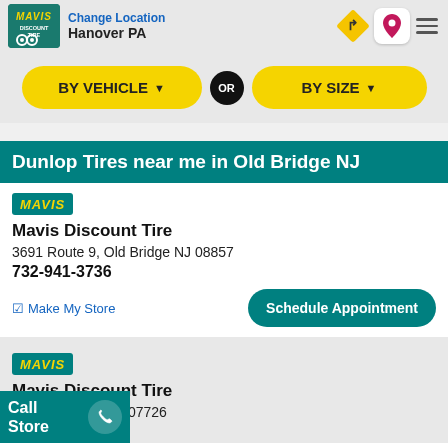Change Location Hanover PA
BY VEHICLE ▼  OR  BY SIZE ▼
Dunlop Tires near me in Old Bridge NJ
MAVIS
Mavis Discount Tire
3691 Route 9, Old Bridge NJ 08857
732-941-3736
Make My Store    Schedule Appointment
MAVIS
Mavis Discount Tire
9, Englishtown NJ 07726
Call Store